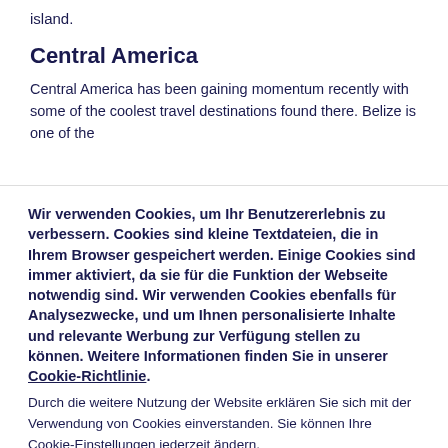island.
Central America
Central America has been gaining momentum recently with some of the coolest travel destinations found there. Belize is one of the
Wir verwenden Cookies, um Ihr Benutzererlebnis zu verbessern. Cookies sind kleine Textdateien, die in Ihrem Browser gespeichert werden. Einige Cookies sind immer aktiviert, da sie für die Funktion der Webseite notwendig sind. Wir verwenden Cookies ebenfalls für Analysezwecke, und um Ihnen personalisierte Inhalte und relevante Werbung zur Verfügung stellen zu können. Weitere Informationen finden Sie in unserer Cookie-Richtlinie. Durch die weitere Nutzung der Website erklären Sie sich mit der Verwendung von Cookies einverstanden. Sie können Ihre Cookie-Einstellungen jederzeit ändern.
Schließen
Cookie-Einstellungen festlegen